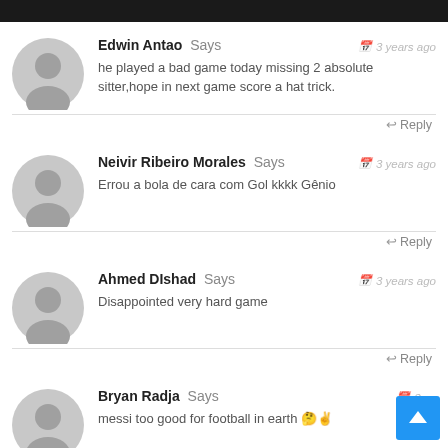Edwin Antao Says — 3 years ago — he played a bad game today missing 2 absolute sitter,hope in next game score a hat trick. — Reply
Neivir Ribeiro Morales Says — 3 years ago — Errou a bola de cara com Gol kkkk Gênio — Reply
Ahmed DIshad Says — 3 years ago — Disappointed very hard game — Reply
Bryan Radja Says — 3 years ago — messi too good for football in earth 🤔✌